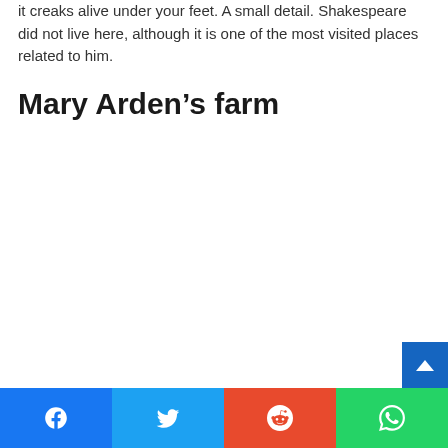it creaks alive under your feet. A small detail. Shakespeare did not live here, although it is one of the most visited places related to him.
Mary Arden’s farm
[Figure (other): Scroll-to-top button (blue, with upward arrow chevron)]
Facebook share | Twitter share | Reddit share | WhatsApp share